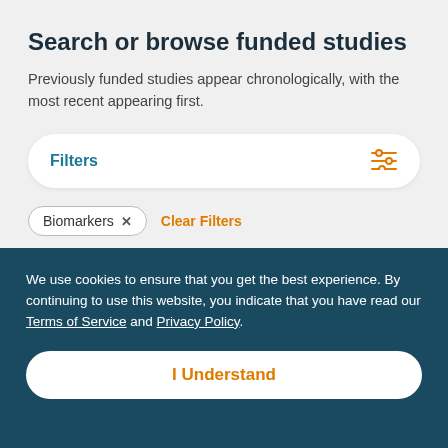Search or browse funded studies
Previously funded studies appear chronologically, with the most recent appearing first.
Filters
Biomarkers × Clear Filters
Filter Results (34)
We use cookies to ensure that you get the best experience. By continuing to use this website, you indicate that you have read our Terms of Service and Privacy Policy.
I Understand